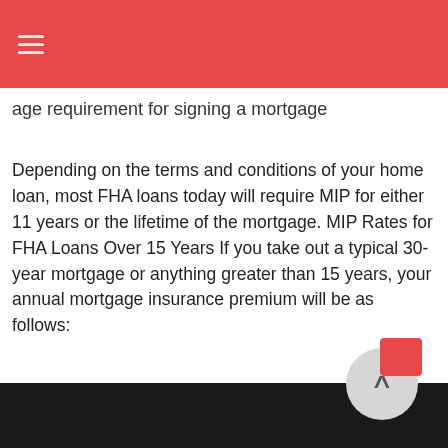age requirement for signing a mortgage
Depending on the terms and conditions of your home loan, most FHA loans today will require MIP for either 11 years or the lifetime of the mortgage. MIP Rates for FHA Loans Over 15 Years If you take out a typical 30-year mortgage or anything greater than 15 years, your annual mortgage insurance premium will be as follows:
There are numerous benefits to these types of loans, including relatively low down payments, but getting an FHA-insured mortgage loan requires adherence to their guidelines. These requirements concern down payments, necessary income levels, debt ratios, the condition of the property you will be buying and more.